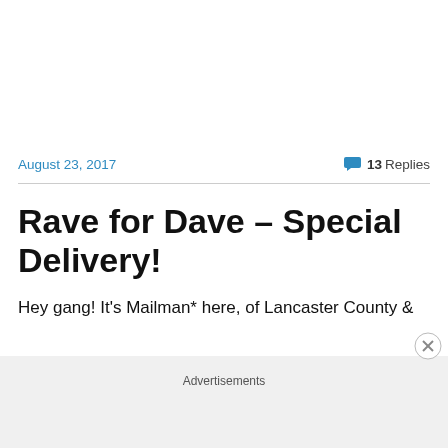August 23, 2017
13 Replies
Rave for Dave – Special Delivery!
Hey gang! It's Mailman* here, of Lancaster County &
Advertisements